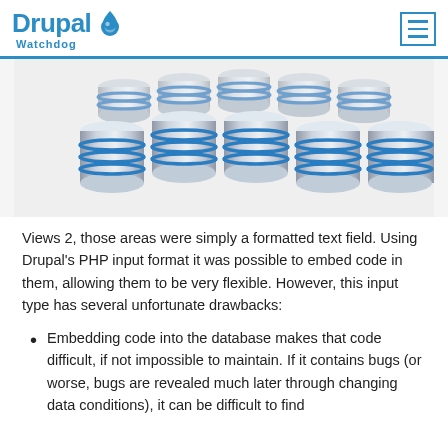Drupal Watchdog
[Figure (illustration): Array of metallic database cylinder icons with blue horizontal bands arranged in rows, on a light background]
Views 2, those areas were simply a formatted text field. Using Drupal's PHP input format it was possible to embed code in them, allowing them to be very flexible. However, this input type has several unfortunate drawbacks:
Embedding code into the database makes that code difficult, if not impossible to maintain. If it contains bugs (or worse, bugs are revealed much later through changing data conditions), it can be difficult to find